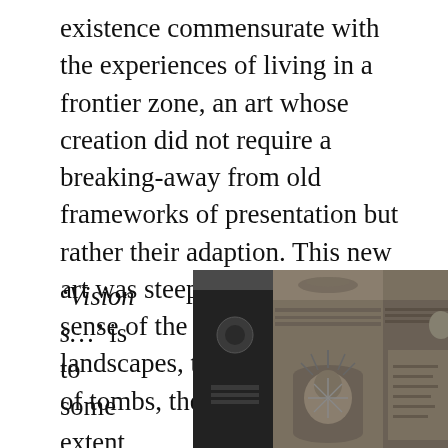existence commensurate with the experiences of living in a frontier zone, an art whose creation did not require a breaking-away from old frameworks of presentation but rather their adaption. This new art was steeped in a physical sense of the Roman north: the landscapes, the forts, the streets of tombs, the resilient peoples.
‘Visions…’ is to some extent a long essay,
[Figure (photo): Museum photograph of ancient stone funerary monuments or architectural elements, showing carved columns and relief sculptures with detailed decorative motifs, displayed against a dark background.]